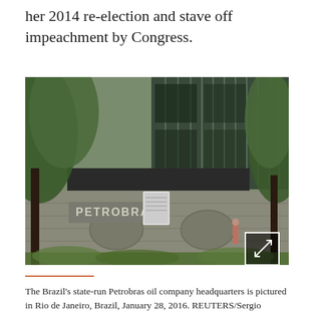her 2014 re-election and stave off impeachment by Congress.
[Figure (photo): Exterior of Petrobras headquarters building in Rio de Janeiro, Brazil. The building facade shows the Petrobras logo in large letters on a stone wall. Trees are visible in the foreground and the upper portion shows a modern glass-and-concrete office tower.]
The Brazil's state-run Petrobras oil company headquarters is pictured in Rio de Janeiro, Brazil, January 28, 2016. REUTERS/Sergio Moraes